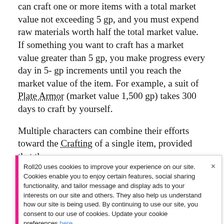can craft one or more items with a total market value not exceeding 5 gp, and you must expend raw materials worth half the total market value. If something you want to craft has a market value greater than 5 gp, you make progress every day in 5- gp increments until you reach the market value of the item. For example, a suit of Plate Armor (market value 1,500 gp) takes 300 days to craft by yourself.
Multiple characters can combine their efforts toward the Crafting of a single item, provided that the
[Figure (other): Cookie consent banner from Roll20 website with pink left border and close button. Text: 'Roll20 uses cookies to improve your experience on our site. Cookies enable you to enjoy certain features, social sharing functionality, and tailor message and display ads to your interests on our site and others. They also help us understand how our site is being used. By continuing to use our site, you consent to our use of cookies. Update your cookie preferences here.']
three characters with the requisite tool proficiency and the proper facilities can craft a suit of Plate Armor in